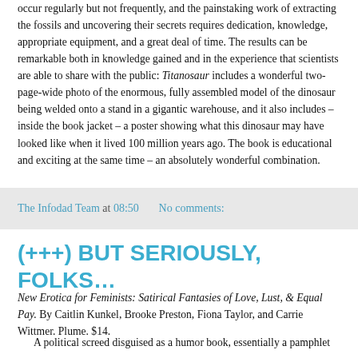occur regularly but not frequently, and the painstaking work of extracting the fossils and uncovering their secrets requires dedication, knowledge, appropriate equipment, and a great deal of time. The results can be remarkable both in knowledge gained and in the experience that scientists are able to share with the public: Titanosaur includes a wonderful two-page-wide photo of the enormous, fully assembled model of the dinosaur being welded onto a stand in a gigantic warehouse, and it also includes – inside the book jacket – a poster showing what this dinosaur may have looked like when it lived 100 million years ago. The book is educational and exciting at the same time – an absolutely wonderful combination.
The Infodad Team at 08:50    No comments:
(+++) BUT SERIOUSLY, FOLKS…
New Erotica for Feminists: Satirical Fantasies of Love, Lust, & Equal Pay. By Caitlin Kunkel, Brooke Preston, Fiona Taylor, and Carrie Wittmer. Plume. $14.
A political screed disguised as a humor book, essentially a pamphlet